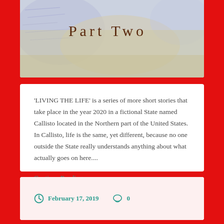[Figure (photo): Handwritten text 'Part Two' on textured paper background with blue and beige tones]
'LIVING THE LIFE' is a series of more short stories that take place in the year 2020 in a fictional State named Callisto located in the Northern part of the United States. In Callisto, life is the same, yet different, because no one outside the State really understands anything about what actually goes on here....
Continue Reading →
February 17, 2019   0